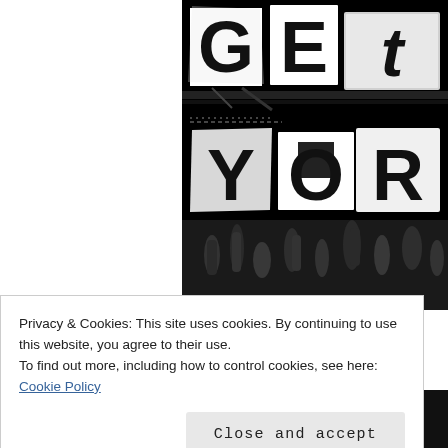[Figure (illustration): Black and white ransom-note style graphic with large cutout letters reading 'GET YOUR' on a black background, with crowd/concert scene visible at bottom]
Privacy & Cookies: This site uses cookies. By continuing to use this website, you agree to their use.
To find out more, including how to control cookies, see here: Cookie Policy
Close and accept